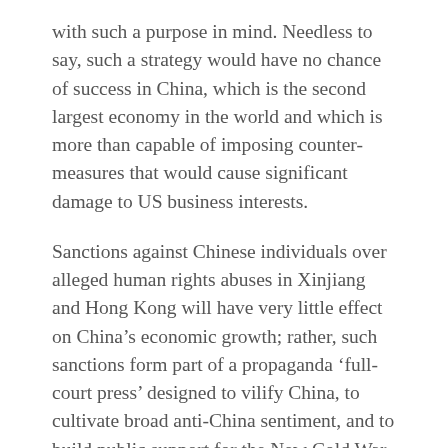with such a purpose in mind. Needless to say, such a strategy would have no chance of success in China, which is the second largest economy in the world and which is more than capable of imposing counter-measures that would cause significant damage to US business interests.
Sanctions against Chinese individuals over alleged human rights abuses in Xinjiang and Hong Kong will have very little effect on China's economic growth; rather, such sanctions form part of a propaganda ‘full-court press’ designed to vilify China, to cultivate broad anti-China sentiment, and to build public support for the New Cold War. This propaganda is already having an impact; in the US, it has produced “a bipartisan consensus in Washington towards getting tough with China that